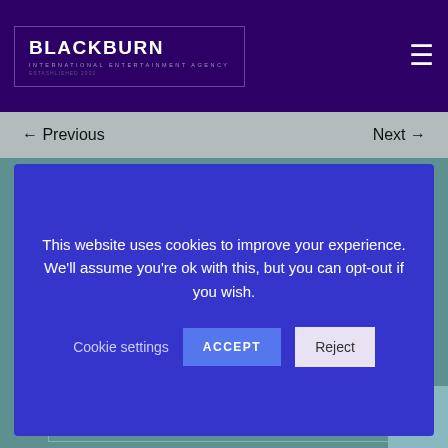BLACKBURN INTERNATIONAL ENTERTAINMENT AGENCY
← Previous    Next →
This website uses cookies to improve your experience. We'll assume you're ok with this, but you can opt-out if you wish. Cookie settings  ACCEPT  Reject
[Figure (logo): Social media icons: Twitter, Facebook, Instagram, LinkedIn]
Get in touch for more details
Call (UK) +44 (0)1276 686 661
↑ Top